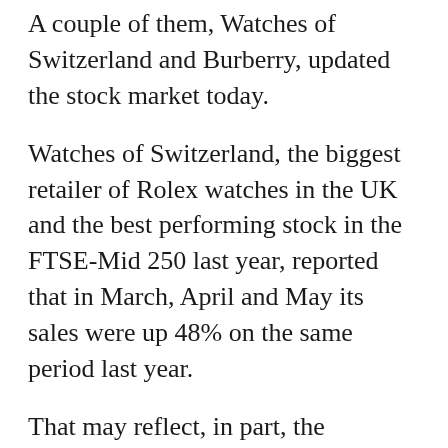A couple of them, Watches of Switzerland and Burberry, updated the stock market today.
Watches of Switzerland, the biggest retailer of Rolex watches in the UK and the best performing stock in the FTSE-Mid 250 last year, reported that in March, April and May its sales were up 48% on the same period last year.
That may reflect, in part, the reopening of the economy as people return to physical shops and return to air travel. It may also reflect, to an extent, new store openings.
The company opened three new ‘mono-brand’ boutiques specialising in just one brand during